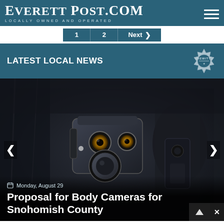EverettPost.com — Locally Owned and Operated
LATEST LOCAL NEWS
[Figure (photo): Close-up photograph of a police body camera mounted on a dark uniform, with tactical equipment visible in the background. The camera device shows dual camera lenses and a large circular button.]
Monday, August 29
Proposal for Body Cameras for Snohomish County